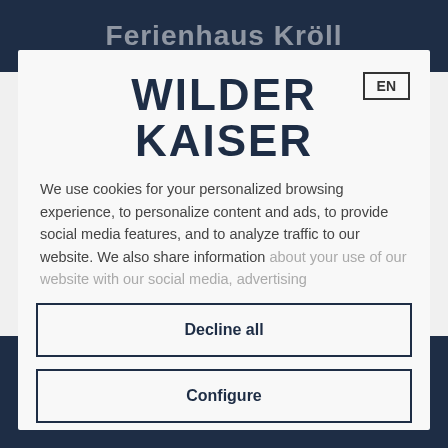Ferienhaus Kröll
[Figure (logo): Wilder Kaiser logo — bold dark navy text on light background, two lines: WILDER / KAISER]
We use cookies for your personalized browsing experience, to personalize content and ads, to provide social media features, and to analyze traffic to our website. We also share information about your use of our website with our social media, advertising
Decline all
Configure
Accept all